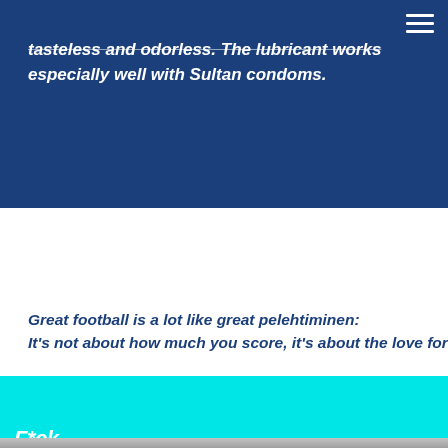tasteless and odorless. The lubricant works especially well with Sultan condoms.
Great football is a lot like great pelehtiminen: It's not about how much you score, it's about the love for t
[Figure (logo): F*ck like a FINN logo with created by Sultan text, on cyan background]
NUDITY  EQUALITY  NATURE  CONDOMS  SEX-ED  SOCIETY